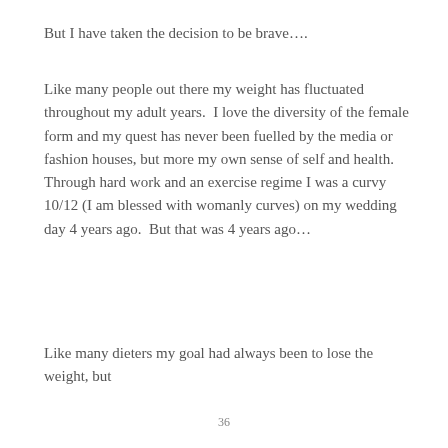But I have taken the decision to be brave….
Like many people out there my weight has fluctuated throughout my adult years.  I love the diversity of the female form and my quest has never been fuelled by the media or fashion houses, but more my own sense of self and health.  Through hard work and an exercise regime I was a curvy 10/12 (I am blessed with womanly curves) on my wedding day 4 years ago.  But that was 4 years ago…
Like many dieters my goal had always been to lose the weight, but
36